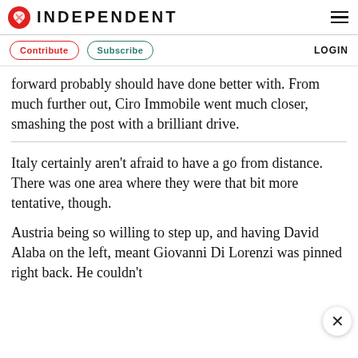INDEPENDENT
Contribute  Subscribe  LOGIN
forward probably should have done better with. From much further out, Ciro Immobile went much closer, smashing the post with a brilliant drive.
Italy certainly aren't afraid to have a go from distance. There was one area where they were that bit more tentative, though.
Austria being so willing to step up, and having David Alaba on the left, meant Giovanni Di Lorenzi was pinned right back. He couldn't